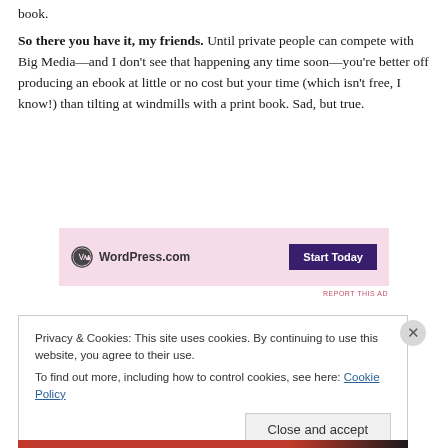book.
So there you have it, my friends. Until private people can compete with Big Media—and I don't see that happening any time soon—you're better off producing an ebook at little or no cost but your time (which isn't free, I know!) than tilting at windmills with a print book. Sad, but true.
[Figure (other): WordPress.com advertisement banner with pink background, WordPress logo on left, and 'Start Today' button in dark purple on right]
REPORT THIS AD
Privacy & Cookies: This site uses cookies. By continuing to use this website, you agree to their use.
To find out more, including how to control cookies, see here: Cookie Policy
Close and accept